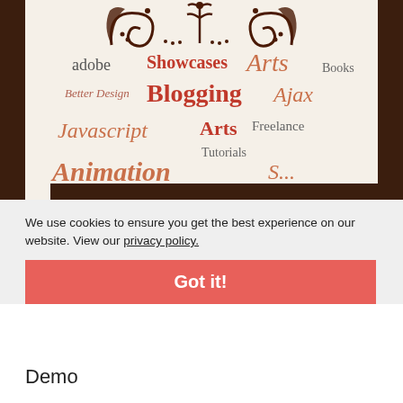[Figure (screenshot): Tag cloud / word cloud screenshot showing design-related tags including adobe, Showcases, Arts, Better Design, Blogging, Ajax, Books, Javascript, Arts, Freelance, Tutorials, Animation on a cream background with dark brown ornamental design at top, within a dark brown border frame.]
We use cookies to ensure you get the best experience on our website. View our privacy policy.
Got it!
Demo